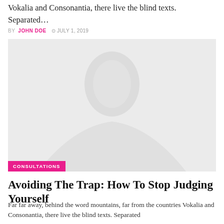Vokalia and Consonantia, there live the blind texts. Separated…
BY JOHN DOE  © JULY 1, 2019
[Figure (photo): Placeholder image with a light gray background and a faint face/person silhouette, with a pink 'CONSULTATIONS' category badge in the lower left corner.]
Avoiding The Trap: How To Stop Judging Yourself
Far far away, behind the word mountains, far from the countries Vokalia and Consonantia, there live the blind texts. Separated